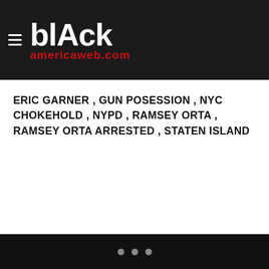blAck americaweb.com
ERIC GARNER , GUN POSESSION , NYC CHOKEHOLD , NYPD , RAMSEY ORTA , RAMSEY ORTA ARRESTED , STATEN ISLAND
• • •